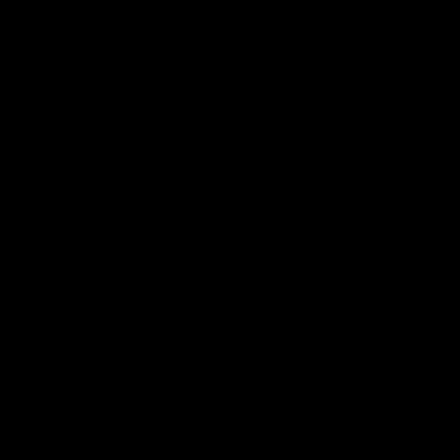[Figure (photo): A completely black image or severely underexposed photograph with no discernible content.]